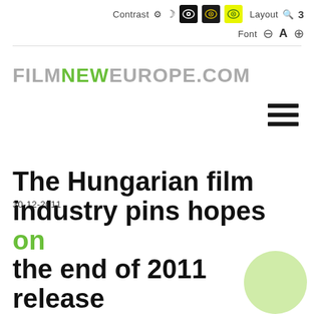Contrast  Layout  Font  A
[Figure (logo): FILMNEWEUROPE.COM logo with FILM and EUROPE in grey and NEW in green]
[Figure (other): Hamburger menu icon, three horizontal dark bars]
30-12-2011
The Hungarian film industry pins hopes on the end of 2011 releases